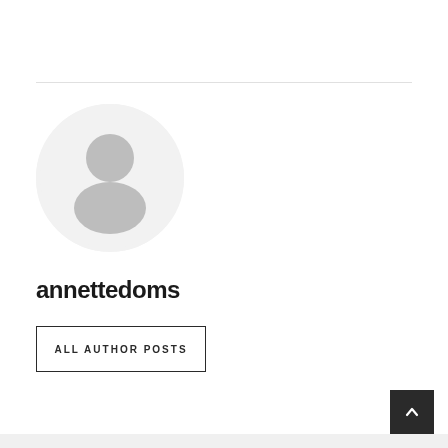[Figure (illustration): Default user avatar placeholder — grey circle with white silhouette of a person (head and shoulders)]
annettedoms
ALL AUTHOR POSTS